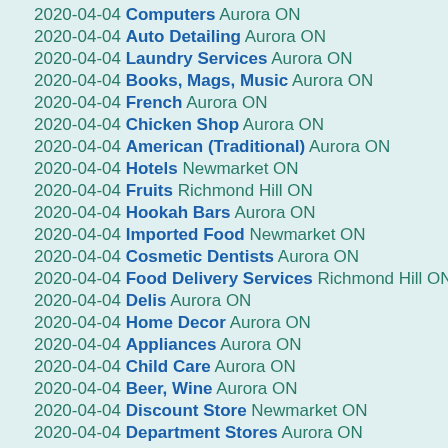2020-04-04 Computers Aurora ON
2020-04-04 Auto Detailing Aurora ON
2020-04-04 Laundry Services Aurora ON
2020-04-04 Books, Mags, Music Aurora ON
2020-04-04 French Aurora ON
2020-04-04 Chicken Shop Aurora ON
2020-04-04 American (Traditional) Aurora ON
2020-04-04 Hotels Newmarket ON
2020-04-04 Fruits Richmond Hill ON
2020-04-04 Hookah Bars Aurora ON
2020-04-04 Imported Food Newmarket ON
2020-04-04 Cosmetic Dentists Aurora ON
2020-04-04 Food Delivery Services Richmond Hill ON
2020-04-04 Delis Aurora ON
2020-04-04 Home Decor Aurora ON
2020-04-04 Appliances Aurora ON
2020-04-04 Child Care Aurora ON
2020-04-04 Beer, Wine Aurora ON
2020-04-04 Discount Store Newmarket ON
2020-04-04 Department Stores Aurora ON
2020-04-04 Electronics Aurora ON
2020-04-04 Keys Richmond Hill ON
2020-04-04 Cocktail Bars Newmarket ON